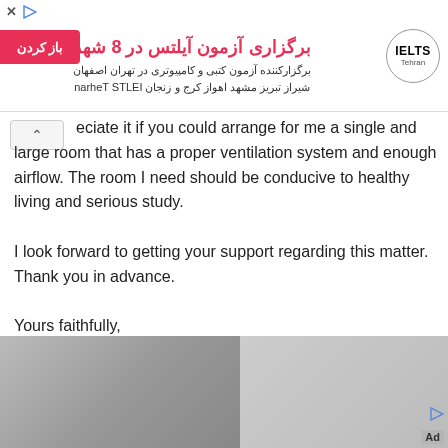[Figure (other): Advertisement banner for IELTS Tehran exam registration in 8 cities. Contains Persian/Farsi text, a red 'open' button, and IELTS Tehran logo.]
eciate it if you could arrange for me a single and large room that has a proper ventilation system and enough airflow. The room I need should be conducive to healthy living and serious study.
I look forward to getting your support regarding this matter. Thank you in advance.
Yours faithfully,
Graham Neelam
[Figure (photo): Two thumbnail photos at the bottom of the page, partially visible. Left shows a person at a laptop, right shows a person.]